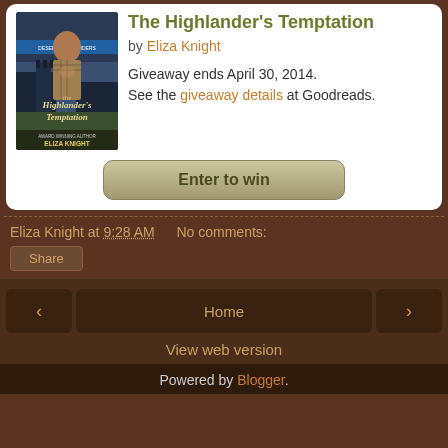[Figure (illustration): Book cover of The Highlander's Temptation by Eliza Knight, showing a shirtless highlander man in front of a castle, with dark moody sky]
The Highlander's Temptation
by Eliza Knight
Giveaway ends April 30, 2014. See the giveaway details at Goodreads.
Enter to win
Eliza Knight at 9:28 AM   No comments:
Share
Home
View web version
Powered by Blogger.